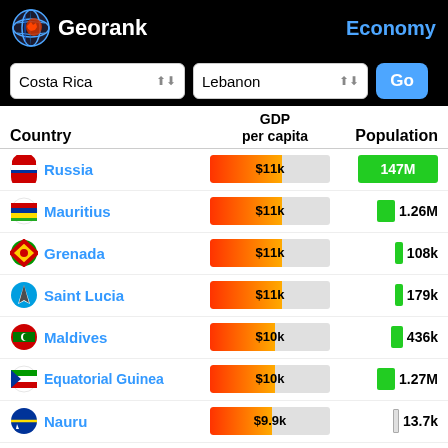Georank — Economy
Costa Rica | Lebanon | Go
| Country | GDP per capita | Population |
| --- | --- | --- |
| Russia | $11k | 147M |
| Mauritius | $11k | 1.26M |
| Grenada | $11k | 108k |
| Saint Lucia | $11k | 179k |
| Maldives | $10k | 436k |
| Equatorial Guinea | $10k | 1.27M |
| Nauru | $9.9k | 13.7k |
| Kazakhstan | $9.8k | 18.3M |
| China | $9.8k | 1.41B |